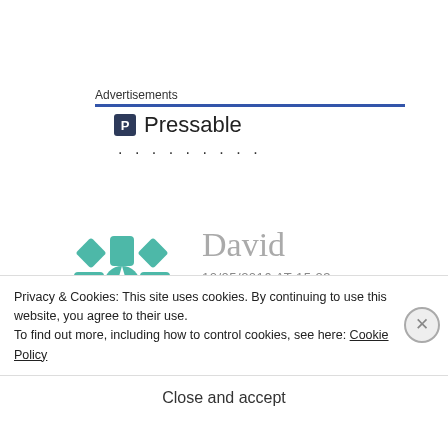Advertisements
[Figure (logo): Pressable logo with dark blue P icon and Pressable text, followed by dots]
David
10/05/2016 AT 15:23
(1) “There is apparently a “tough
Privacy & Cookies: This site uses cookies. By continuing to use this website, you agree to their use.
To find out more, including how to control cookies, see here: Cookie Policy
Close and accept